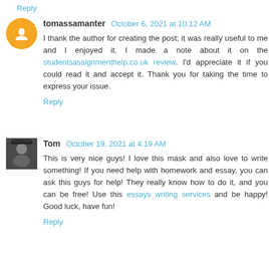Reply
tomassamanter  October 6, 2021 at 10:12 AM
I thank the author for creating the post; it was really useful to me and I enjoyed it. I made a note about it on the studentsassignmenthelp.co.uk review. I'd appreciate it if you could read it and accept it. Thank you for taking the time to express your issue.
Reply
Tom  October 19, 2021 at 4:19 AM
This is very nice guys! I love this mask and also love to write something! If you need help with homework and essay, you can ask this guys for help! They really know how to do it, and you can be free! Use this essays writing services and be happy! Good luck, have fun!
Reply